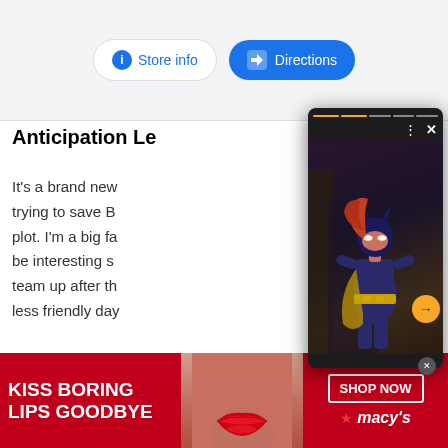[Figure (screenshot): Store info and Directions buttons from a Google Maps interface]
Anticipation Le
It's a brand new trying to save B plot. I'm a big fa be interesting s team up after th less friendly day
[Figure (photo): Popup showing a photo of actress in Batgirl costume with navigation arrows and close button]
[Figure (photo): Macy's advertisement banner: KISS BORING LIPS GOODBYE - SHOP NOW with a woman's face close-up showing red lips]